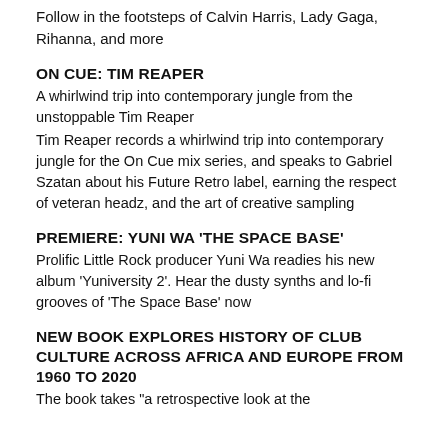Follow in the footsteps of Calvin Harris, Lady Gaga, Rihanna, and more
ON CUE: TIM REAPER
A whirlwind trip into contemporary jungle from the unstoppable Tim Reaper
Tim Reaper records a whirlwind trip into contemporary jungle for the On Cue mix series, and speaks to Gabriel Szatan about his Future Retro label, earning the respect of veteran headz, and the art of creative sampling
PREMIERE: YUNI WA ‘THE SPACE BASE’
Prolific Little Rock producer Yuni Wa readies his new album ‘Yuniversity 2’. Hear the dusty synths and lo-fi grooves of ‘The Space Base’ now
NEW BOOK EXPLORES HISTORY OF CLUB CULTURE ACROSS AFRICA AND EUROPE FROM 1960 TO 2020
The book takes “a retrospective look at the